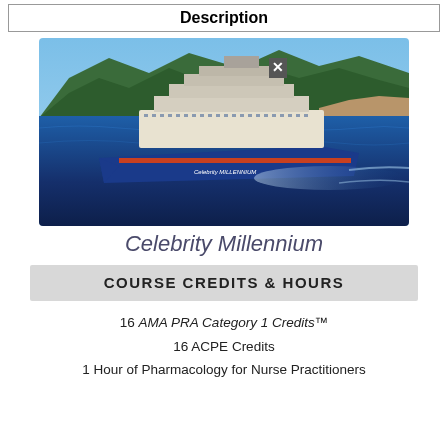Description
[Figure (photo): Aerial photograph of the Celebrity Millennium cruise ship at sea with green mountainous coastline in the background]
Celebrity Millennium
COURSE CREDITS & HOURS
16 AMA PRA Category 1 Credits™
16 ACPE Credits
1 Hour of Pharmacology for Nurse Practitioners